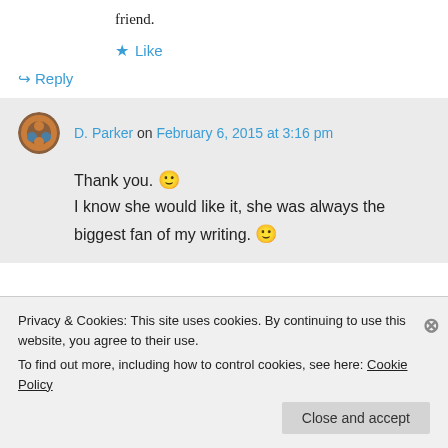friend.
★ Like
↪ Reply
D. Parker on February 6, 2015 at 3:16 pm
Thank you. 🙂 I know she would like it, she was always the biggest fan of my writing. 🙂
Privacy & Cookies: This site uses cookies. By continuing to use this website, you agree to their use.
To find out more, including how to control cookies, see here: Cookie Policy
Close and accept